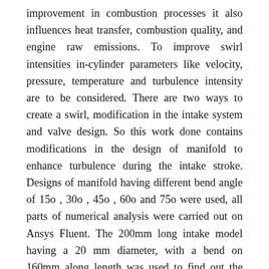improvement in combustion processes it also influences heat transfer, combustion quality, and engine raw emissions. To improve swirl intensities in-cylinder parameters like velocity, pressure, temperature and turbulence intensity are to be considered. There are two ways to create a swirl, modification in the intake system and valve design. So this work done contains modifications in the design of manifold to enhance turbulence during the intake stroke. Designs of manifold having different bend angle of 15o , 30o , 45o , 60o and 75o were used, all parts of numerical analysis were carried out on Ansys Fluent. The 200mm long intake model having a 20 mm diameter, with a bend on 160mm along length was used to find out the best bend angle configuration from the above orientations. K-epsilon model was used to simulate flow dynamics; variations turbulent kinetic energy was studied. After analyzing these results it was concluded that best-optimized design (in terms of